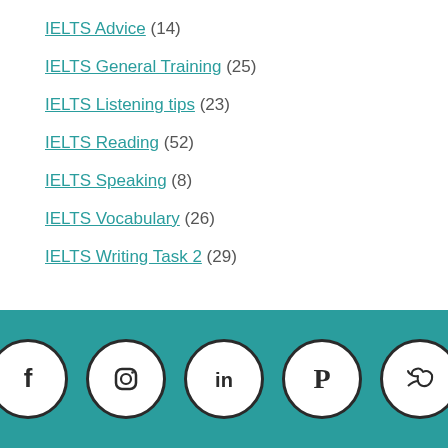IELTS Advice (14)
IELTS General Training (25)
IELTS Listening tips (23)
IELTS Reading (52)
IELTS Speaking (8)
IELTS Vocabulary (26)
IELTS Writing Task 2 (29)
[Figure (illustration): Social media icons: Facebook, Instagram, LinkedIn, Pinterest, Twitter — white circles on teal background footer]